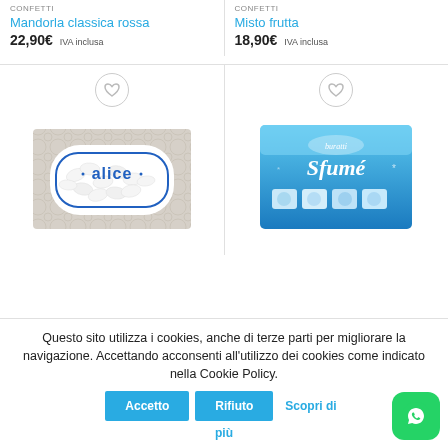CONFETTI
Mandorla classica rossa
22,90€ IVA inclusa
CONFETTI
Misto frutta
18,90€ IVA inclusa
[Figure (photo): Box of white almond confetti with Alice brand label, gray and white decorative pattern]
[Figure (photo): Blue box of Sfumé assorted chocolates/confetti by Buratti brand]
Questo sito utilizza i cookies, anche di terze parti per migliorare la navigazione. Accettando acconsenti all'utilizzo dei cookies come indicato nella Cookie Policy.
Accetto
Rifiuto
Scopri di più